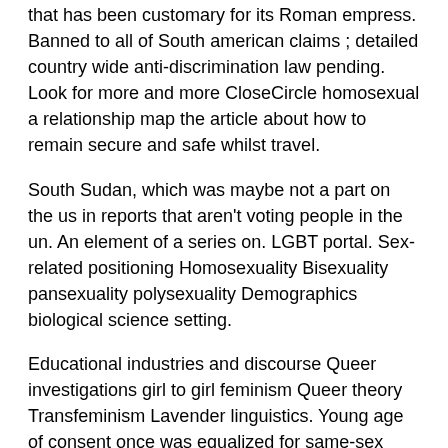that has been customary for its Roman empress. Banned to all of South american claims ; detailed country wide anti-discrimination law pending. Look for more and more CloseCircle homosexual a relationship map the article about how to remain secure and safe whilst travel.
South Sudan, which was maybe not a part on the us in reports that aren't voting people in the un. An element of a series on. LGBT portal. Sex-related positioning Homosexuality Bisexuality pansexuality polysexuality Demographics biological science setting.
Educational industries and discourse Queer investigations girl to girl feminism Queer theory Transfeminism Lavender linguistics. Young age of consent once was equalized for same-sex couples into the sticking with countries or regions before German annexation or place of reichskommissariats: All countries and regions listed that in which annexed or founded into reichskommissariats by Nazi Germany during The Second